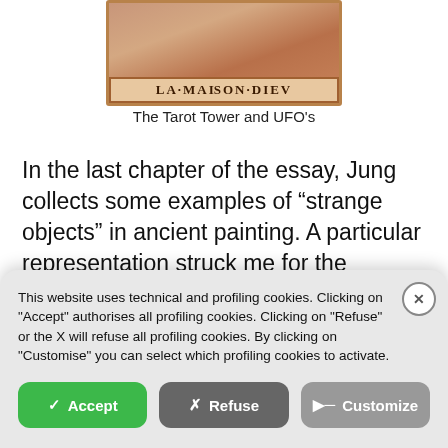[Figure (photo): Tarot card image showing 'LA MAISON DIEU' text (The Tower card), rendered in reddish-brown tones with decorative border]
The Tarot Tower and UFO’s
In the last chapter of the essay, Jung collects some examples of “strange objects” in ancient painting. A particular representation struck me for the extraordinary similarity with the figurative elements of Arcanum XVI: it refers to the famous “celestial
This website uses technical and profiling cookies. Clicking on "Accept" authorises all profiling cookies. Clicking on "Refuse" or the X will refuse all profiling cookies. By clicking on "Customise" you can select which profiling cookies to activate.